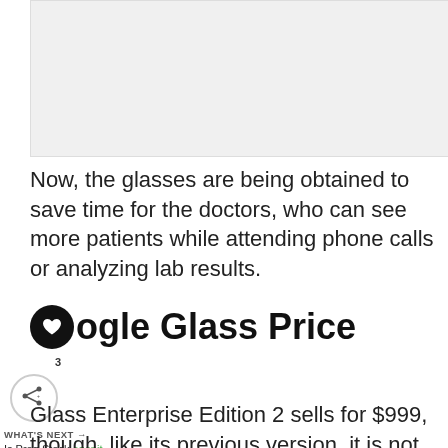[Figure (photo): Image placeholder at top of page]
Now, the glasses are being obtained to save time for the doctors, who can see more patients while attending phone calls or analyzing lab results.
Google Glass Price
Google Glass Enterprise Edition 2 sells for $999, though, like its previous version, it is not being sold directly to consumers. It has got a faster processor, an improved camera, a USB-C port for faster charging, and a difference of other updates.